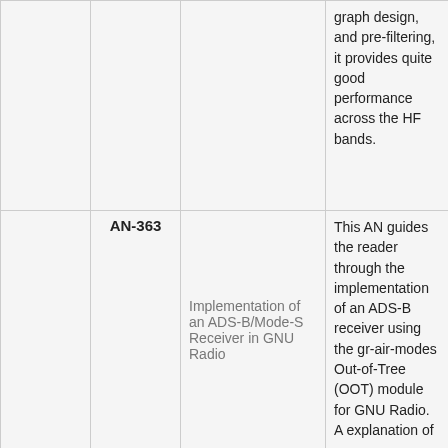|  |  | Title | Description |
| --- | --- | --- | --- |
|  |  |  | graph design, and pre-filtering, it provides quite good performance across the HF bands. |
|  | AN-363 | Implementation of an ADS-B/Mode-S Receiver in GNU Radio | This AN guides the reader through the implementation of an ADS-B receiver using the gr-air-modes Out-of-Tree (OOT) module for GNU Radio. A explanation of |